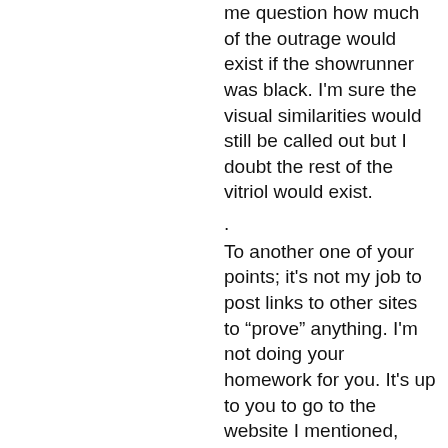me question how much of the outrage would exist if the showrunner was black. I'm sure the visual similarities would still be called out but I doubt the rest of the vitriol would exist.
.
To another one of your points; it's not my job to post links to other sites to "prove" anything. I'm not doing your homework for you. It's up to you to go to the website I mentioned, scroll to find the article, and read it yourself. Why people in 2020 still expect things to be handed to them when they can easily get it themselves is ridiculous. If you're going to read one article, accept it as a 100% accurate presentation of the situation, eschew looking for other reports of the topic at hand that's on you. Do better to be more